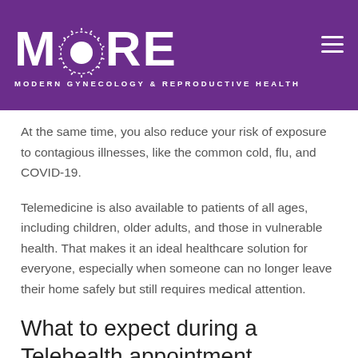[Figure (logo): MORE Modern Gynecology & Reproductive Health logo on purple background with hamburger menu icon]
At the same time, you also reduce your risk of exposure to contagious illnesses, like the common cold, flu, and COVID-19.
Telemedicine is also available to patients of all ages, including children, older adults, and those in vulnerable health. That makes it an ideal healthcare solution for everyone, especially when someone can no longer leave their home safely but still requires medical attention.
What to expect during a Telehealth appointment